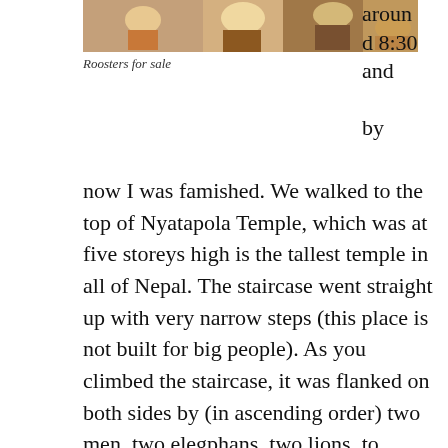[Figure (photo): Partial view of roosters or people with roosters for sale at a market, cropped at top of page]
Roosters for sale
around 8:30 and by now I was famished. We walked to the top of Nyatapola Temple, which was at five storeys high is the tallest temple in all of Nepal. The staircase went straight up with very narrow steps (this place is not built for big people). As you climbed the staircase, it was flanked on both sides by (in ascending order) two men, two elegphans, two lions, to griffons and finally two goddesses. It as a striking temple, but the few from the top was spectacular. You could look to the left towards the Bhairabnath Temple and then straight down into the main square where the locals were buying and selling